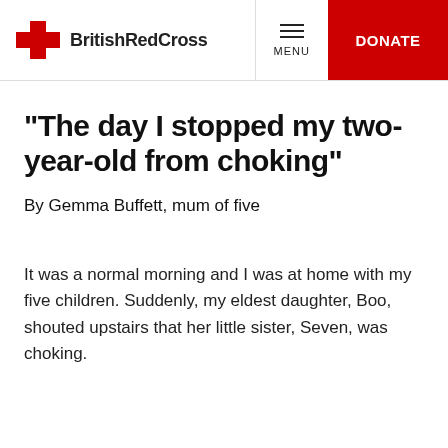British Red Cross
"The day I stopped my two-year-old from choking"
By Gemma Buffett, mum of five
It was a normal morning and I was at home with my five children. Suddenly, my eldest daughter, Boo, shouted upstairs that her little sister, Seven, was choking.